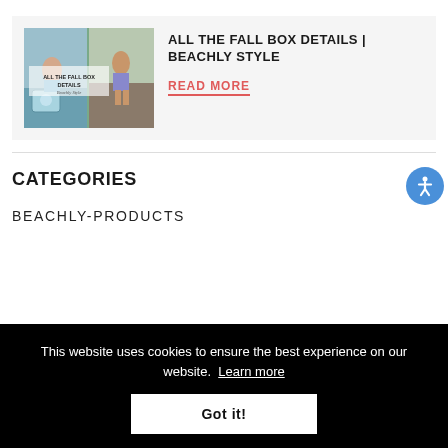[Figure (photo): Collage-style photo showing women outdoors with a beach/fall box theme, text overlay reads 'ALL THE FALL BOX DETAILS Beachly Style']
ALL THE FALL BOX DETAILS | BEACHLY STYLE
READ MORE
CATEGORIES
BEACHLY-PRODUCTS
This website uses cookies to ensure the best experience on our website.  Learn more
Got it!